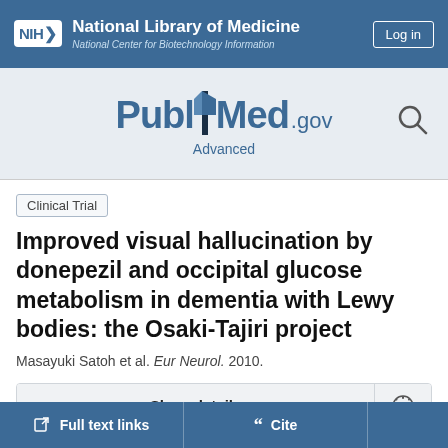NIH National Library of Medicine National Center for Biotechnology Information
[Figure (logo): PubMed.gov logo with search icon]
Advanced
Clinical Trial
Improved visual hallucination by donepezil and occipital glucose metabolism in dementia with Lewy bodies: the Osaki-Tajiri project
Masayuki Satoh et al. Eur Neurol. 2010.
Show details
Full text links
Cite